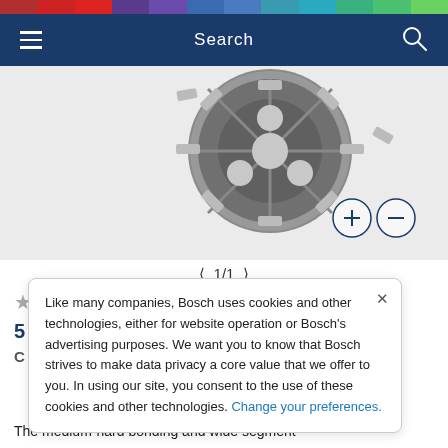Search
[Figure (photo): Diamond cup grinding wheel viewed from above, showing segmented design with multiple holes, metallic grey color]
1/1
Like many companies, Bosch uses cookies and other technologies, either for website operation or Bosch's advertising purposes. We want you to know that Bosch strives to make data privacy a core value that we offer to you. In using our site, you consent to the use of these cookies and other technologies. Change your preferences.
The medium-hard bonding and wide segment